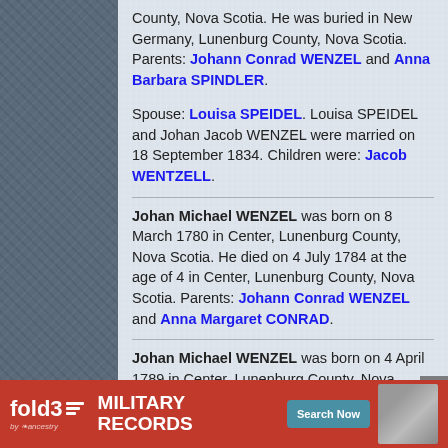County, Nova Scotia. He was buried in New Germany, Lunenburg County, Nova Scotia. Parents: Johann Conrad WENZEL and Anna Barbara SPINDLER.
Spouse: Louisa SPEIDEL. Louisa SPEIDEL and Johan Jacob WENZEL were married on 18 September 1834. Children were: Jacob WENTZELL.
Johan Michael WENZEL was born on 8 March 1780 in Center, Lunenburg County, Nova Scotia. He died on 4 July 1784 at the age of 4 in Center, Lunenburg County, Nova Scotia. Parents: Johann Conrad WENZEL and Anna Margaret CONRAD.
Johan Michael WENZEL was born on 4 April 1789 in Center, Lunenburg County, Nova Scotia. He died on 29 April 1789 at...
[Figure (other): Fold3 by Ancestry advertisement banner for Military Records with Search Now button and soldier photo]